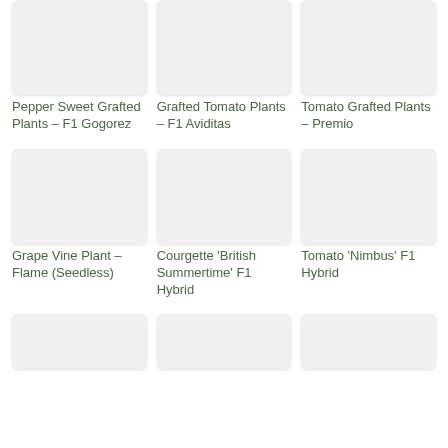[Figure (photo): Product image placeholder for Pepper Sweet Grafted Plants – F1 Gogorez]
Pepper Sweet Grafted Plants – F1 Gogorez
[Figure (photo): Product image placeholder for Grafted Tomato Plants – F1 Aviditas]
Grafted Tomato Plants – F1 Aviditas
[Figure (photo): Product image placeholder for Tomato Grafted Plants – Premio]
Tomato Grafted Plants – Premio
[Figure (photo): Product image placeholder for Grape Vine Plant – Flame (Seedless)]
Grape Vine Plant – Flame (Seedless)
[Figure (photo): Product image placeholder for Courgette 'British Summertime' F1 Hybrid]
Courgette 'British Summertime' F1 Hybrid
[Figure (photo): Product image placeholder for Tomato 'Nimbus' F1 Hybrid]
Tomato 'Nimbus' F1 Hybrid
[Figure (photo): Product image placeholder - row 3 item 1]
[Figure (photo): Product image placeholder - row 3 item 2]
[Figure (photo): Product image placeholder - row 3 item 3]